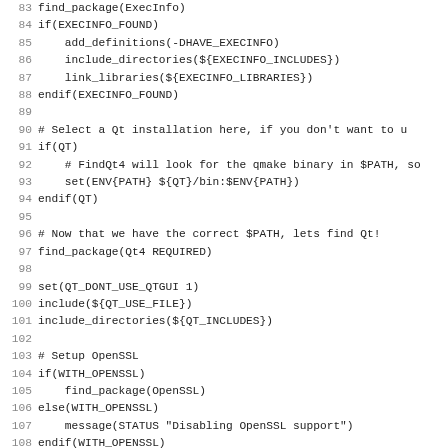[Figure (screenshot): Source code listing (CMake build script) showing lines 83-115 with line numbers. Code includes execinfo, Qt, and OpenSSL setup blocks.]